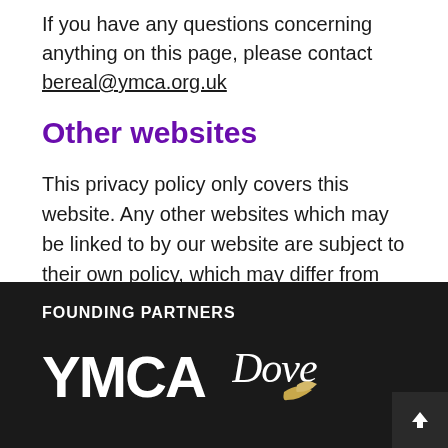If you have any questions concerning anything on this page, please contact bereal@ymca.org.uk
Other websites
This privacy policy only covers this website. Any other websites which may be linked to by our website are subject to their own policy, which may differ from ours.
FOUNDING PARTNERS — YMCA, Dove (logos)